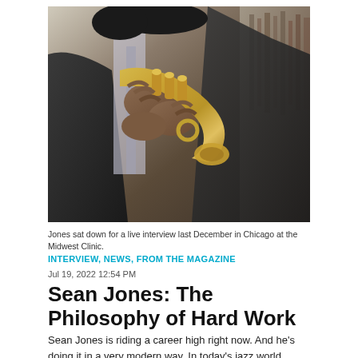[Figure (photo): A jazz musician in a dark suit holding a brass trumpet close to his chest, photographed from chest-level up against a blurred background.]
Jones sat down for a live interview last December in Chicago at the Midwest Clinic.
INTERVIEW, NEWS, FROM THE MAGAZINE
Jul 19, 2022 12:54 PM
Sean Jones: The Philosophy of Hard Work
Sean Jones is riding a career high right now. And he's doing it in a very modern way. In today's jazz world, those...